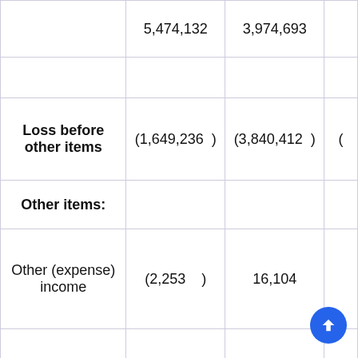|  | Col1 | Col2 | Col3 |
| --- | --- | --- | --- |
|  | 5,474,132 | 3,974,693 |  |
|  |  |  |  |
| Loss before other items | (1,649,236 ) | (3,840,412 ) | ( |
| Other items: |  |  |  |
| Other (expense) income | (2,253 ) | 16,104 |  |
| Interest expense | (47,068 ) | – |  |
| Accretion expense (Note | (33,005 ) | – |  |